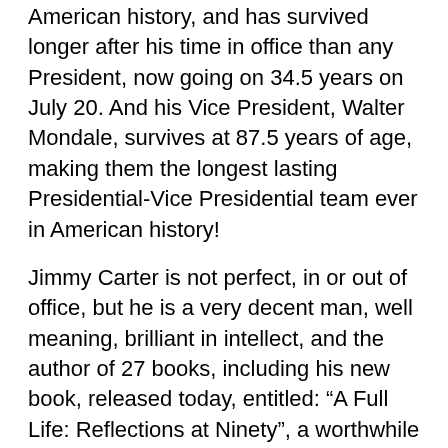American history, and has survived longer after his time in office than any President, now going on 34.5 years on July 20. And his Vice President, Walter Mondale, survives at 87.5 years of age, making them the longest lasting Presidential-Vice Presidential team ever in American history!
Jimmy Carter is not perfect, in or out of office, but he is a very decent man, well meaning, brilliant in intellect, and the author of 27 books, including his new book, released today, entitled: “A Full Life: Reflections at Ninety”, a worthwhile read!
It is clear that only when he passes from the scene, like Harry Truman, will he come to be appreciated for the great man and human being he is, always trying to do his best, but humble enough to be willing to concede his shortcomings, much of which he expresses in this